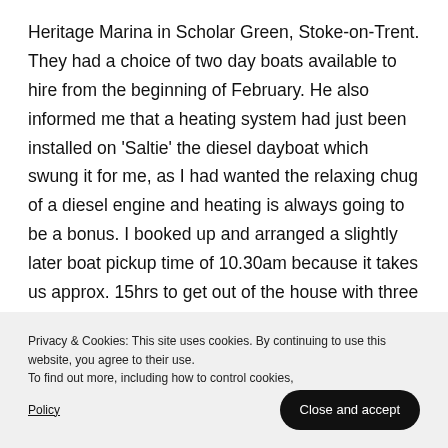Heritage Marina in Scholar Green, Stoke-on-Trent. They had a choice of two day boats available to hire from the beginning of February. He also informed me that a heating system had just been installed on 'Saltie' the diesel dayboat which swung it for me, as I had wanted the relaxing chug of a diesel engine and heating is always going to be a bonus. I booked up and arranged a slightly later boat pickup time of 10.30am because it takes us approx. 15hrs to get out of the house with three small children.
Privacy & Cookies: This site uses cookies. By continuing to use this website, you agree to their use.
To find out more, including how to control cookies, see here: Cookie Policy
Close and accept
with their little boy Freddie to join us.) We were all set for